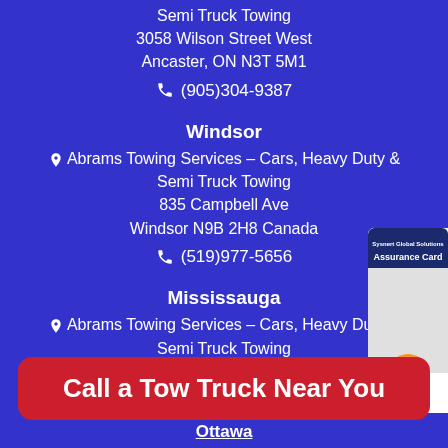Semi Truck Towing
3058 Wilson Street West
Ancaster, ON N3T 5M1
(905)304-9387
Windsor
Abrams Towing Services – Cars, Heavy Duty & Semi Truck Towing
835 Campbell Ave
Windsor N9B 2H8 Canada
(519)977-5656
Mississauga
Abrams Towing Services – Cars, Heavy Duty & Semi Truck Towing
2458 Haines Road
Mississauga, ON L4Y1Y6
[Figure (other): Sysnert Global Solutions Assurance Card advertisement widget with orange arrow button]
Call a Tow Truck Near You
Ottawa